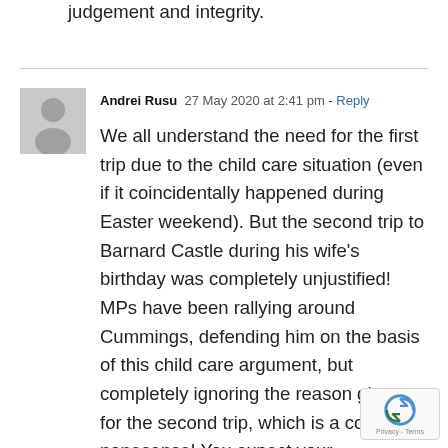judgement and integrity.
Andrei Rusu  27 May 2020 at 2:41 pm - Reply
We all understand the need for the first trip due to the child care situation (even if it coincidentally happened during Easter weekend). But the second trip to Barnard Castle during his wife's birthday was completely unjustified! MPs have been rallying around Cummings, defending him on the basis of this child care argument, but completely ignoring the reason given for the second trip, which is a complete nonesense! You expect your constituents